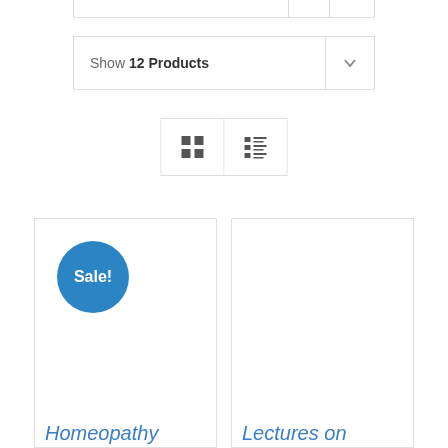Show 12 Products
[Figure (screenshot): Grid and list view toggle buttons]
[Figure (screenshot): Product card with Sale! badge and title 'Homeopathy']
[Figure (screenshot): Product card with title 'Lectures on']